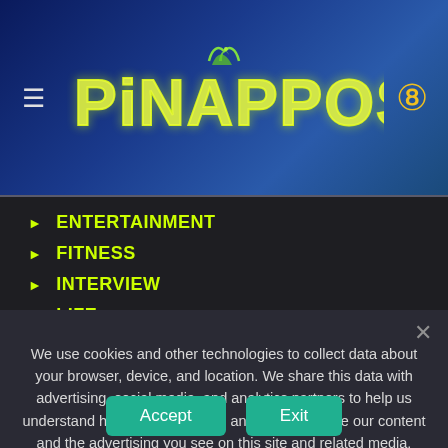PINAPPOS
ENTERTAINMENT
FITNESS
INTERVIEW
LIFE
SPOTLIGHT
We use cookies and other technologies to collect data about your browser, device, and location. We share this data with advertising, social media, and analytics partners to help us understand how the site is used and to personalize our content and the advertising you see on this site and related media. Some laws consider this sharing to be a “sale” of personal data. Use of this site constitutes an agreement to the sharing of your data and our Terms & Privacy. If you do not agree, please exit now. Exit
Accept
Exit